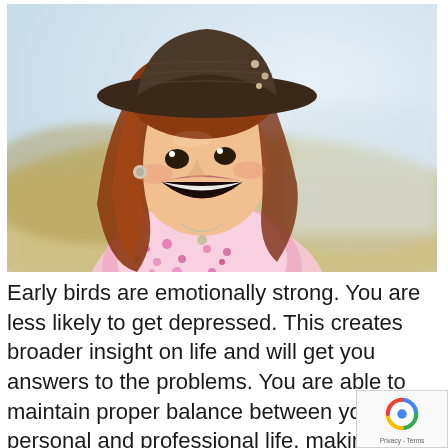[Figure (photo): A laughing young woman with long auburn hair, wearing a dark wide-brimmed hat and a floral pink top, photographed outdoors against a blurred green and sky background.]
Early birds are emotionally strong. You are less likely to get depressed. This creates broader insight on life and will get you answers to the problems. You are able to maintain proper balance between your personal and professional life, making you